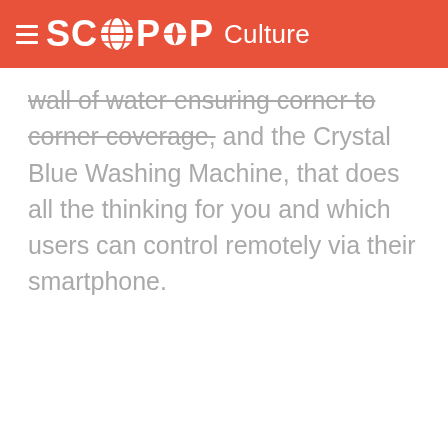SCOOP Culture
wall of water ensuring corner to corner coverage, and the Crystal Blue Washing Machine, that does all the thinking for you and which users can control remotely via their smartphone.